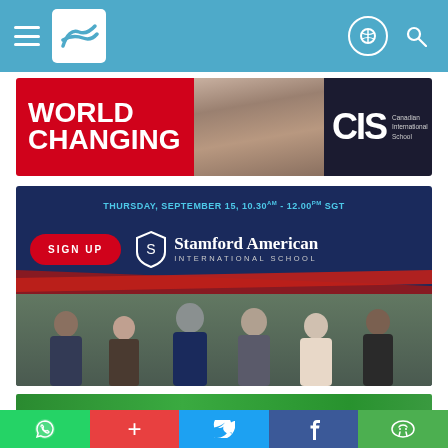Navigation bar with menu, logo, and search icons
[Figure (infographic): World Changing CIS (Canadian International School) advertisement banner with red background, masked student photo, and CIS logo on dark background]
[Figure (infographic): Stamford American International School event banner: 'THURSDAY, SEPTEMBER 15, 10.30AM - 12.00PM SGT' with SIGN UP button and group photo of school staff/administrators]
[Figure (photo): Children smiling against a green chalkboard background]
Social share bar: WhatsApp, Add, Twitter, Facebook, WeChat